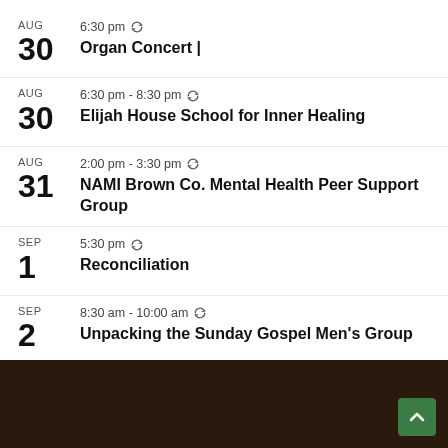AUG 30 | 6:30 pm | Organ Concert |
AUG 30 | 6:30 pm - 8:30 pm | Elijah House School for Inner Healing
AUG 31 | 2:00 pm - 3:30 pm | NAMI Brown Co. Mental Health Peer Support Group
SEP 1 | 5:30 pm | Reconciliation
SEP 2 | 8:30 am - 10:00 am | Unpacking the Sunday Gospel Men's Group